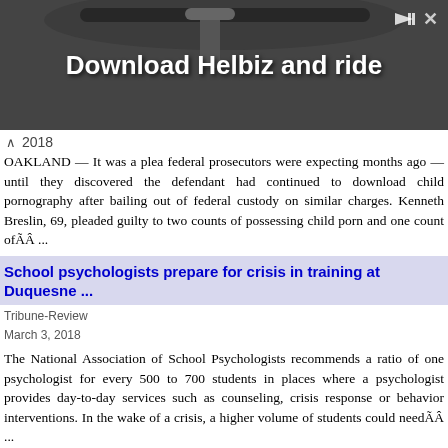[Figure (photo): Advertisement banner with dark background showing bicycle handlebars, text reads 'Download Helbiz and ride']
2018
OAKLAND — It was a plea federal prosecutors were expecting months ago — until they discovered the defendant had continued to download child pornography after bailing out of federal custody on similar charges. Kenneth Breslin, 69, pleaded guilty to two counts of possessing child porn and one count ofÃÂ ...
School psychologists prepare for crisis in training at Duquesne ...
Tribune-Review
March 3, 2018
The National Association of School Psychologists recommends a ratio of one psychologist for every 500 to 700 students in places where a psychologist provides day-to-day services such as counseling, crisis response or behavior interventions. In the wake of a crisis, a higher volume of students could needÃÂ ...
Boy charged in crossbow slaying tells psychologist he wishes he ...
Tulsa World
March 3, 2018